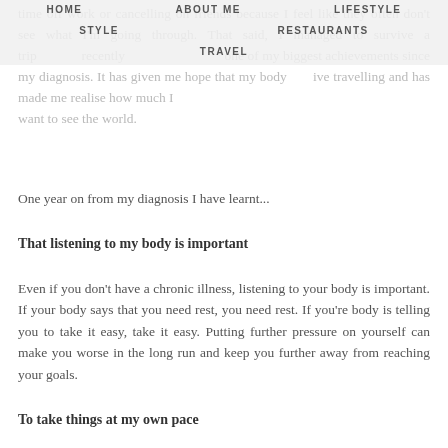time off work or cancelling on friends because I feel like they often don't see what I'm going through. That said, I managed to survive a trip to Shetland recently which has been one of my biggest achievements since my diagnosis. It has given me hope that my body can survive travelling and has made me realise how much I want to see the world.
HOME   ABOUT ME   LIFESTYLE   STYLE   RESTAURANTS   TRAVEL
One year on from my diagnosis I have learnt...
That listening to my body is important
Even if you don't have a chronic illness, listening to your body is important. If your body says that you need rest, you need rest. If you're body is telling you to take it easy, take it easy. Putting further pressure on yourself can make you worse in the long run and keep you further away from reaching your goals.
To take things at my own pace